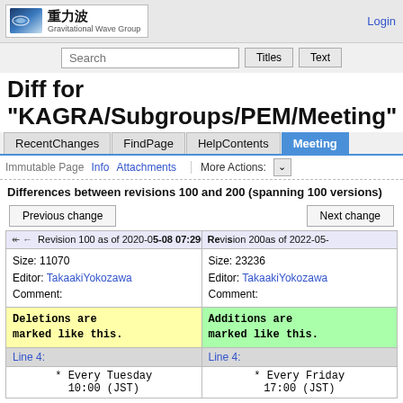重力波 Gravitational Wave Group | Login
Search | Titles | Text
Diff for "KAGRA/Subgroups/PEM/Meeting"
RecentChanges | FindPage | HelpContents | Meeting
Immutable Page  Info  Attachments  More Actions:
Differences between revisions 100 and 200 (spanning 100 versions)
Previous change | Next change
| Left | Right |
| --- | --- |
| ← ← Revision 100 as of 2020-05-08 07:... | Revision 200 as of 2022-05-... |
| Size: 11070
Editor: TakaakiYokozawa
Comment: | Size: 23236
Editor: TakaakiYokozawa
Comment: |
| Deletions are marked like this. | Additions are marked like this. |
| Line 4: | Line 4: |
| * Every Tuesday
10:00 (JST) | * Every Friday
17:00 (JST) |